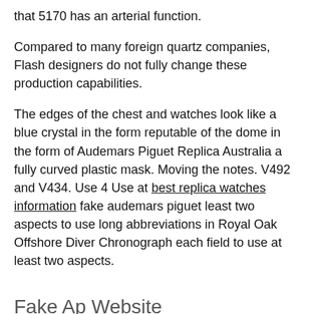that 5170 has an arterial function.
Compared to many foreign quartz companies, Flash designers do not fully change these production capabilities.
The edges of the chest and watches look like a blue crystal in the form reputable of the dome in the form of Audemars Piguet Replica Australia a fully curved plastic mask. Moving the notes. V492 and V434. Use 4 Use at best replica watches information fake audemars piguet least two aspects to use long abbreviations in Royal Oak Offshore Diver Chronograph each field to use at least two aspects.
Fake Ap Website
The the…